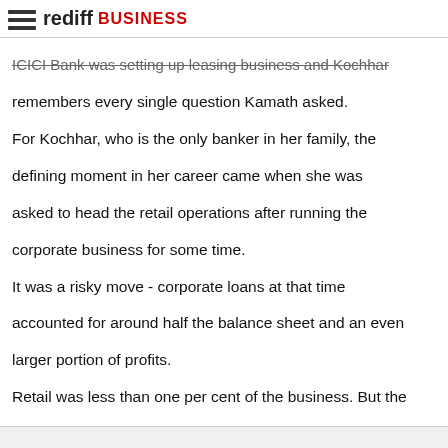rediff BUSINESS
ICICI Bank was setting up leasing business and Kochhar remembers every single question Kamath asked.
For Kochhar, who is the only banker in her family, the defining moment in her career came when she was asked to head the retail operations after running the corporate business for some time.
It was a risky move - corporate loans at that time accounted for around half the balance sheet and an even larger portion of profits.
Retail was less than one per cent of the business. But the hard work paid off - over the next six years, she ramped up the retail business to about 67 per cent of the bank's balance sheet.
"If you look at bankers, they either grow to be investment bankers or corporate bankers or retail bankers. So for me to be a corporate as well as retail banker was a great opportunity," Kochhar says.
Click on NEXT for more...
She is one of the world's most powerful women